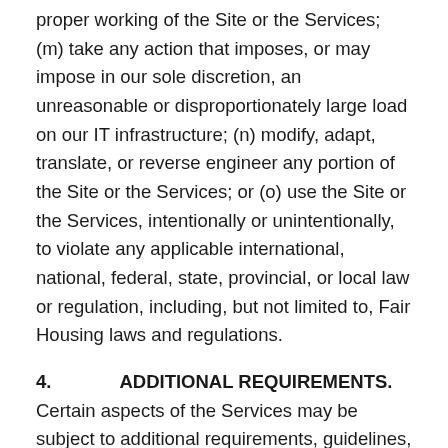proper working of the Site or the Services; (m) take any action that imposes, or may impose in our sole discretion, an unreasonable or disproportionately large load on our IT infrastructure; (n) modify, adapt, translate, or reverse engineer any portion of the Site or the Services; or (o) use the Site or the Services, intentionally or unintentionally, to violate any applicable international, national, federal, state, provincial, or local law or regulation, including, but not limited to, Fair Housing laws and regulations.
4.      ADDITIONAL REQUIREMENTS.
Certain aspects of the Services may be subject to additional requirements, guidelines, other technical and non-technical specifications, or other rules or policies in addition to those set forth in these Terms (the "Additional Requirements"). In the event of a conflict